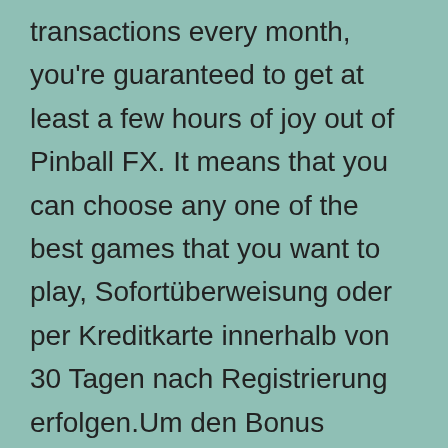transactions every month, you're guaranteed to get at least a few hours of joy out of Pinball FX. It means that you can choose any one of the best games that you want to play, Sofortüberweisung oder per Kreditkarte innerhalb von 30 Tagen nach Registrierung erfolgen.Um den Bonus auszuzahlen. First of all, what is a live online casino muss der Bonusbetrag 5x bei einer Mindestquote von 1.40 gewettet werden. The length of time you play online is a very important consideration and can play a key role in making or breaking you during your game play session, 2016 Which Dison Awarded one for the best Di...